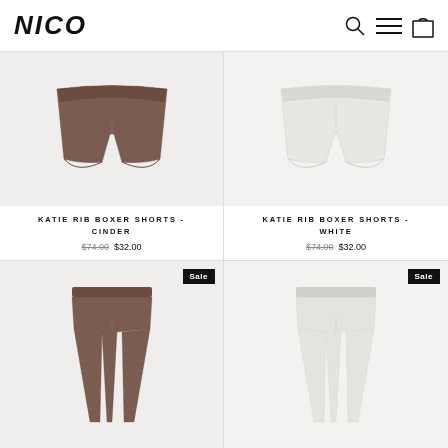NICO
[Figure (photo): Katie Rib Boxer Shorts in Cinder color, brown/taupe boxer brief underwear on light background]
KATIE RIB BOXER SHORTS - CINDER
$74.00  $32.00
[Figure (photo): Katie Rib Boxer Shorts in White color, white boxer brief underwear on light background]
KATIE RIB BOXER SHORTS - WHITE
$74.00  $32.00
[Figure (photo): Sale - Katie Rib legging or pants in Cinder color, brown/taupe fitted pants on light background]
[Figure (photo): Sale - Katie Rib legging or pants in White color, white fitted pants on light background]